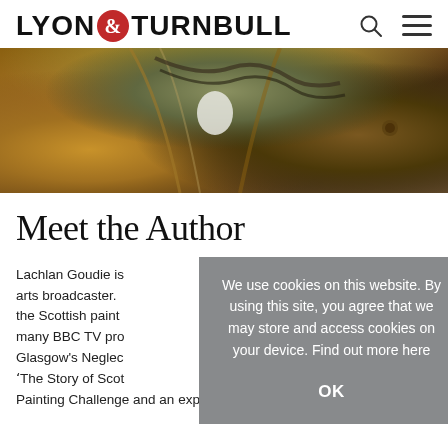LYON & TURNBULL
[Figure (photo): Close-up photo of a person wearing a tan leather jacket and striped scarf, cropped to show the collar/chest area]
Meet the Author
Lachlan Goudie is arts broadcaster. the Scottish paint many BBC TV pro Glasgow's Neglec 'The Story of Scot Painting Challenge and an expert on BBC 4's Life Drawing
We use cookies on this website. By using this site, you agree that we may store and access cookies on your device. Find out more here

OK